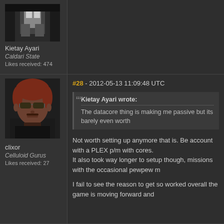[Figure (photo): Partial avatar image of Kietay Ayari, cropped at top, black and white/dark tones]
Kietay Ayari
Caldari State
Likes received: 474
[Figure (photo): Avatar of clixor, a person with reddish-brown hair and sunglasses, rendered in game style]
clixor
Celluloid Gurus
Likes received: 27
#28 - 2012-05-13 11:09:48 UTC
Kietay Ayari wrote: The datacore thing is making me passive but its barely even worth
Not worth setting up anymore that is. Be account with a PLEX p/m with cores. It also took way longer to setup though, missions with the occasional pewpew m
I fail to see the reason to get so worked overall the game is moving forward and